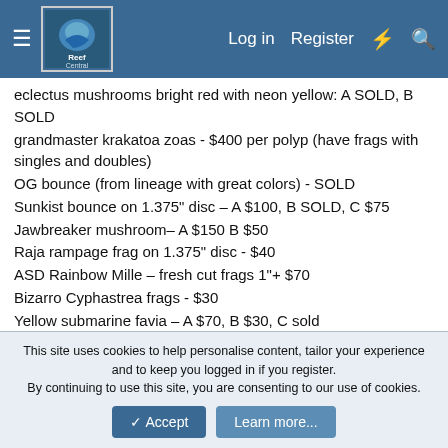Reef Central — Log in  Register
eclectus mushrooms bright red with neon yellow: A SOLD, B SOLD
grandmaster krakatoa zoas - $400 per polyp (have frags with singles and doubles)
OG bounce (from lineage with great colors) - SOLD
Sunkist bounce on 1.375" disc – A $100, B SOLD, C $75
Jawbreaker mushroom– A $150 B $50
Raja rampage frag on 1.375" disc - $40
ASD Rainbow Mille – fresh cut frags 1"+ $70
Bizarro Cyphastrea frags - $30
Yellow submarine favia – A $70, B $30, C sold
Neon green toadstool frags -$20-$30
Kryptonite candy cane colony - $60 or can do $15 frags
Blue and purple dragon across - fresh cut frags 1"+ $30
This site uses cookies to help personalise content, tailor your experience and to keep you logged in if you register.
By continuing to use this site, you are consenting to our use of cookies.